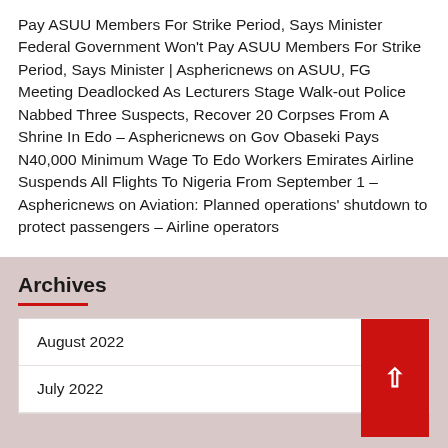Pay ASUU Members For Strike Period, Says Minister Federal Government Won't Pay ASUU Members For Strike Period, Says Minister | Asphericnews on ASUU, FG Meeting Deadlocked As Lecturers Stage Walk-out Police Nabbed Three Suspects, Recover 20 Corpses From A Shrine In Edo – Asphericnews on Gov Obaseki Pays N40,000 Minimum Wage To Edo Workers Emirates Airline Suspends All Flights To Nigeria From September 1 – Asphericnews on Aviation: Planned operations' shutdown to protect passengers – Airline operators
Archives
August 2022
July 2022